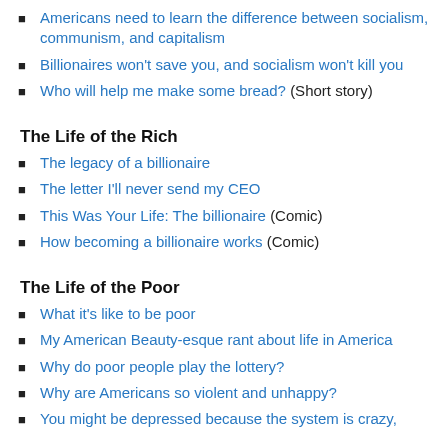Americans need to learn the difference between socialism, communism, and capitalism
Billionaires won't save you, and socialism won't kill you
Who will help me make some bread? (Short story)
The Life of the Rich
The legacy of a billionaire
The letter I'll never send my CEO
This Was Your Life: The billionaire (Comic)
How becoming a billionaire works (Comic)
The Life of the Poor
What it's like to be poor
My American Beauty-esque rant about life in America
Why do poor people play the lottery?
Why are Americans so violent and unhappy?
You might be depressed because the system is crazy,